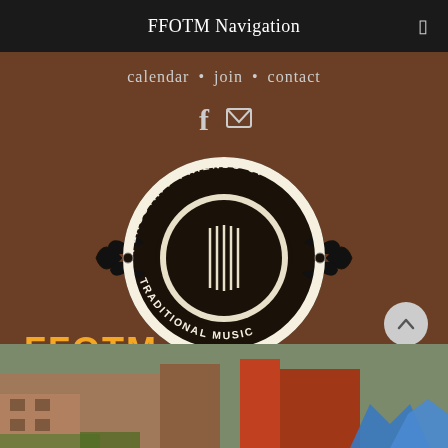FFOTM Navigation
calendar • join • contact
[Figure (logo): Flagstaff Friends of Traditional Music circular logo with decorative wings, black and white, showing a banjo/resonator instrument icon in the center with text 'FLAGSTAFF FRIENDS OF TRADITIONAL MUSIC' around the ring]
FFOTM
[Figure (photo): Outdoor street scene with blue pop-up tents/canopies visible, buildings in background, appears to be a market or festival setting]